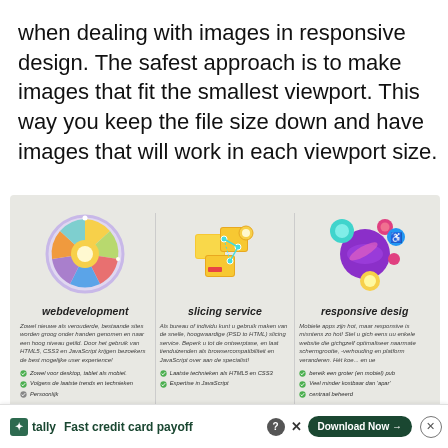when dealing with images in responsive design. The safest approach is to make images that fit the smallest viewport. This way you keep the file size down and have images that will work in each viewport size.
[Figure (screenshot): Screenshot of a Dutch web design agency website showing three service columns: webdevelopment (colorful pie-chart wheel icon), slicing service (puzzle/map icon), and responsive design (abstract circles icon), each with a title, description paragraph, and bullet points with checkmarks. A Tally ad bar appears at the bottom.]